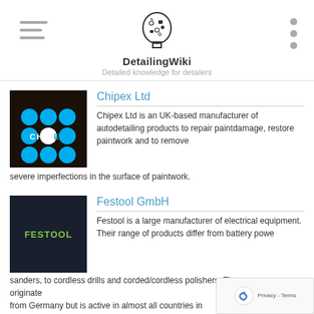[Figure (logo): DetailingWiki logo - stylized human head filled with car-related icons and tools]
DetailingWiki
Detailed knowledge for detailers
[Figure (logo): Chipex logo - dark brown background with cyan/blue circular dots arranged in a grid pattern and white CHIPEX text]
Chipex Ltd
Chipex Ltd is an UK-based manufacturer of autodetailing products to repair paintdamage, restore paintwork and to remove severe imperfections in the surface of paintwork.
[Figure (logo): Festool logo - dark navy background with green FESTOOL text]
Festool GmbH
Festool is a large manufacturer of electrical equipment. Their range of products differ from battery power sanders, to cordless drills and corded/cordless polishers. The company originates from Germany but is active in almost all countries in